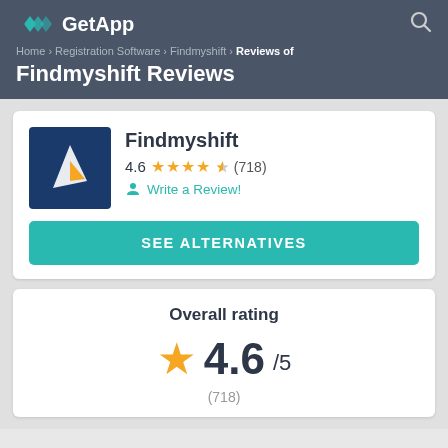GetApp
Home › Registration Software › Findmyshift › Reviews of
Findmyshift Reviews
[Figure (logo): Findmyshift app logo: dark blue square with a stylized white and orange sail/flag icon]
Findmyshift
4.6 ★★★★½ (718)
Write a Review!
SEE ALTERNATIVES
Overall rating
4.6/5
(718)